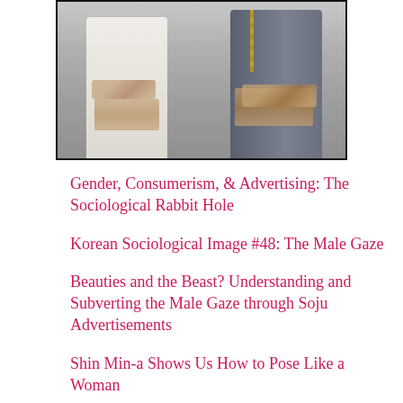[Figure (photo): Two people standing side by side from the waist down, both wearing ripped jeans — one in white/light jeans and the other in dark blue/grey jeans. A chain accessory is visible on the right side.]
Gender, Consumerism, & Advertising: The Sociological Rabbit Hole
Korean Sociological Image #48: The Male Gaze
Beauties and the Beast? Understanding and Subverting the Male Gaze through Soju Advertisements
Shin Min-a Shows Us How to Pose Like a Woman